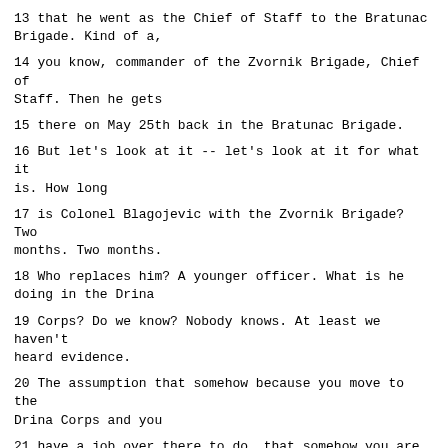13 that he went as the Chief of Staff to the Bratunac Brigade. Kind of a,
14 you know, commander of the Zvornik Brigade, Chief of Staff. Then he gets
15 there on May 25th back in the Bratunac Brigade.
16 But let's look at it -- let's look at it for what it is. How long
17 is Colonel Blagojevic with the Zvornik Brigade? Two months. Two months.
18 Who replaces him? A younger officer. What is he doing in the Drina
19 Corps? Do we know? Nobody knows. At least we haven't heard evidence.
20 The assumption that somehow because you move to the Drina Corps and you
21 have a job over there to do, that somehow you are in the sanctum santorum
22 of all the decision makers. But that's what they would have you believe.
23 Because since he's there and he's moved to the Bratunac Brigade, it must